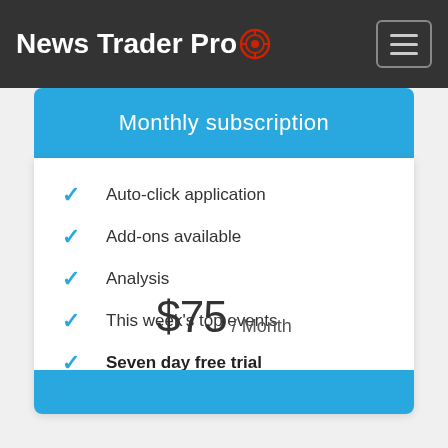News Trader Pro
Monthly subscription
Auto-click application
Add-ons available
Analysis
This week's top events
Seven day free trial
$75 / Month